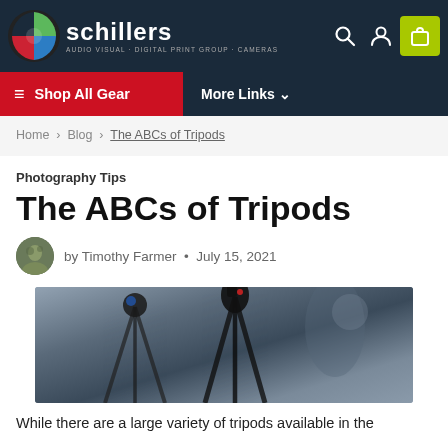[Figure (logo): Schillers logo with multi-color circular icon and text 'schillers AUDIO VISUAL · DIGITAL PRINT GROUP · CAMERAS']
Shop All Gear   More Links
Home › Blog › The ABCs of Tripods
Photography Tips
The ABCs of Tripods
by Timothy Farmer • July 15, 2021
[Figure (photo): Close-up photo of tripod heads and camera equipment with blurred background]
While there are a large variety of tripods available in the